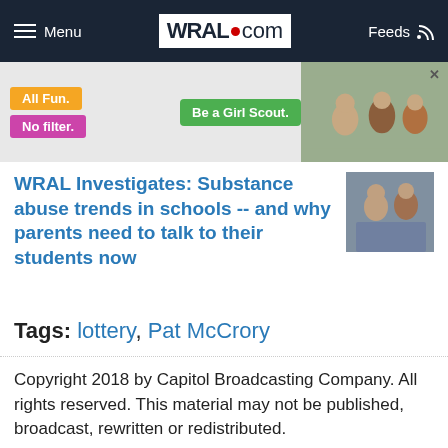Menu | WRAL.com | Feeds
[Figure (photo): Girl Scout advertisement banner with orange 'All Fun.' label, pink 'No filter.' label, green 'Be a Girl Scout.' button, and photo of children outdoors]
WRAL Investigates: Substance abuse trends in schools -- and why parents need to talk to their students now
Tags: lottery, Pat McCrory
Copyright 2018 by Capitol Broadcasting Company. All rights reserved. This material may not be published, broadcast, rewritten or redistributed.